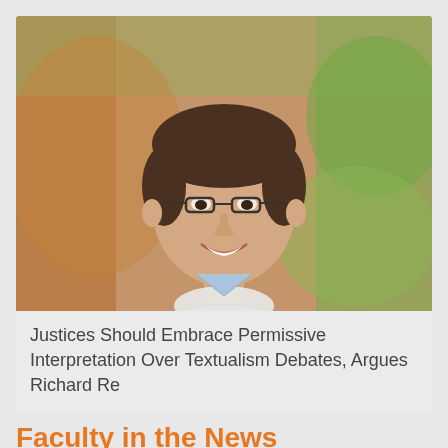[Figure (photo): Headshot of a young smiling man with dark hair, glasses, and a light blue button-up shirt, photographed outdoors with a blurred autumn foliage background.]
Justices Should Embrace Permissive Interpretation Over Textualism Debates, Argues Richard Re
Faculty in the News
Podcast: Douglas Laycock Recalls Supreme Court's Animal